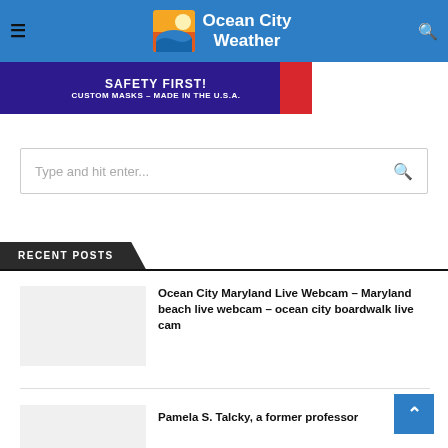Ocean City Weather
[Figure (screenshot): Advertisement banner: SAFETY FIRST! CUSTOM MASKS – MADE IN THE U.S.A. on dark blue/purple background with red block]
[Figure (other): Search input box with placeholder text 'Type and hit enter...' and search icon]
RECENT POSTS
[Figure (photo): Thumbnail placeholder image (light gray rectangle)]
Ocean City Maryland Live Webcam – Maryland beach live webcam – ocean city boardwalk live cam
[Figure (photo): Partial thumbnail placeholder image (light gray rectangle)]
Pamela S. Talcky, a former professor